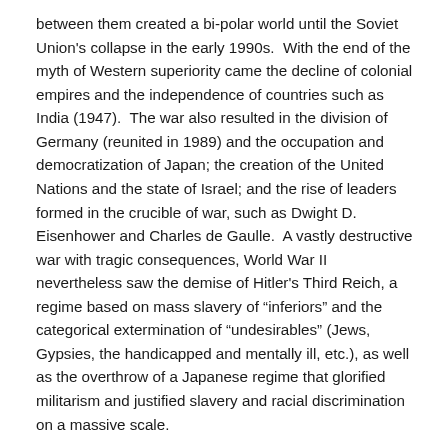between them created a bi-polar world until the Soviet Union's collapse in the early 1990s. With the end of the myth of Western superiority came the decline of colonial empires and the independence of countries such as India (1947). The war also resulted in the division of Germany (reunited in 1989) and the occupation and democratization of Japan; the creation of the United Nations and the state of Israel; and the rise of leaders formed in the crucible of war, such as Dwight D. Eisenhower and Charles de Gaulle. A vastly destructive war with tragic consequences, World War II nevertheless saw the demise of Hitler's Third Reich, a regime based on mass slavery of “inferiors” and the categorical extermination of “undesirables” (Jews, Gypsies, the handicapped and mentally ill, etc.), as well as the overthrow of a Japanese regime that glorified militarism and justified slavery and racial discrimination on a massive scale.